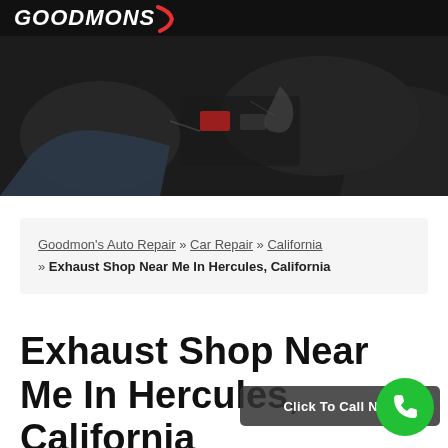GOODMONS
[Figure (photo): Dark, moody photo of a mechanic's hands working on a car engine with tools, battery terminals and engine parts visible]
Goodmon's Auto Repair » Car Repair » California » Exhaust Shop Near Me In Hercules, California
Exhaust Shop Near Me In Hercules, California